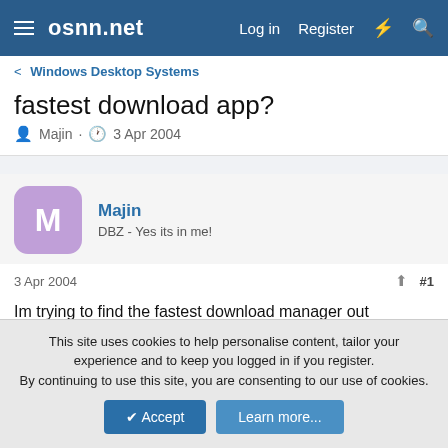osnn.net — Log in  Register
< Windows Desktop Systems
fastest download app?
Majin · 3 Apr 2004
Majin
DBZ - Yes its in me!
3 Apr 2004  #1
Im trying to find the fastest download manager out there...have used getright and nettransport.......getright works well but isnt fast and nettransport seems fast but dosnt work well. someone help 😲
This site uses cookies to help personalise content, tailor your experience and to keep you logged in if you register.
By continuing to use this site, you are consenting to our use of cookies.